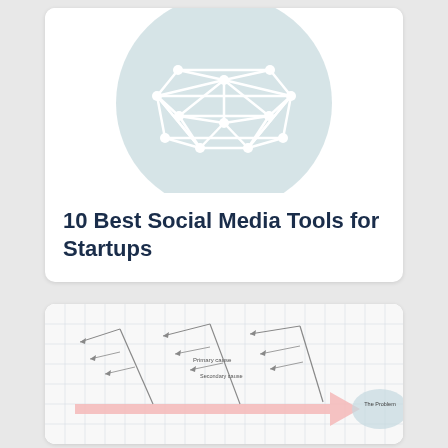[Figure (illustration): Network/mesh geometry icon: a white interconnected polygon shape on a light blue-grey circular background, resembling a geodesic sphere or network graph]
10 Best Social Media Tools for Startups
[Figure (schematic): Ishikawa (fishbone/cause-and-effect) diagram showing arrows pointing toward 'The Problem' on a grid paper background, with labels 'Primary cause' and 'Secondary cause' and a pink arrow pointing right toward a light blue oval labeled 'The Problem']